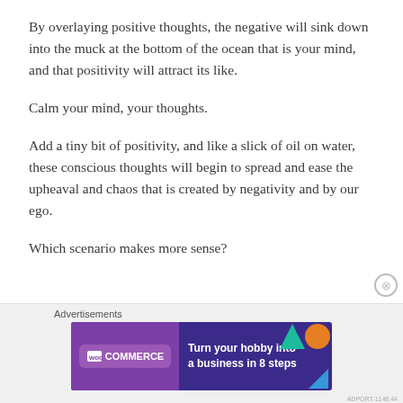By overlaying positive thoughts, the negative will sink down into the muck at the bottom of the ocean that is your mind, and that positivity will attract its like.
Calm your mind, your thoughts.
Add a tiny bit of positivity, and like a slick of oil on water, these conscious thoughts will begin to spread and ease the upheaval and chaos that is created by negativity and by our ego.
Which scenario makes more sense?
[Figure (screenshot): WooCommerce advertisement banner: dark purple background with WooCommerce logo on left and text 'Turn your hobby into a business in 8 steps' on right, with colorful geometric shapes]
Advertisements